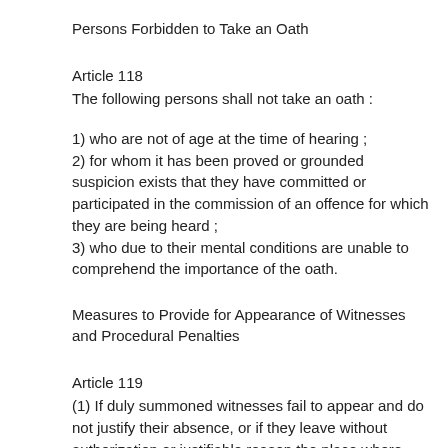Persons Forbidden to Take an Oath
Article 118
The following persons shall not take an oath :
1) who are not of age at the time of hearing ;
2) for whom it has been proved or grounded suspicion exists that they have committed or participated in the commission of an offence for which they are being heard ;
3) who due to their mental conditions are unable to comprehend the importance of the oath.
Measures to Provide for Appearance of Witnesses and Procedural Penalties
Article 119
(1) If duly summoned witnesses fail to appear and do not justify their absence, or if they leave without authorization or justifiable reason the place where they are to testify, the court may order their compulsory apprehension as well as impose a fine in